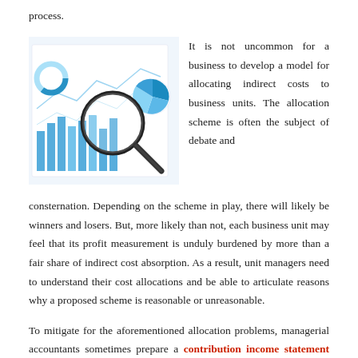process.
[Figure (photo): Business charts and graphs with a magnifying glass, showing bar charts, pie charts, and line graphs in blue tones on white paper — a financial analysis concept photo.]
It is not uncommon for a business to develop a model for allocating indirect costs to business units. The allocation scheme is often the subject of debate and consternation. Depending on the scheme in play, there will likely be winners and losers. But, more likely than not, each business unit may feel that its profit measurement is unduly burdened by more than a fair share of indirect cost absorption. As a result, unit managers need to understand their cost allocations and be able to articulate reasons why a proposed scheme is reasonable or unreasonable.
To mitigate for the aforementioned allocation problems, managerial accountants sometimes prepare a contribution income statement for each segment. This internal use document is consistent with